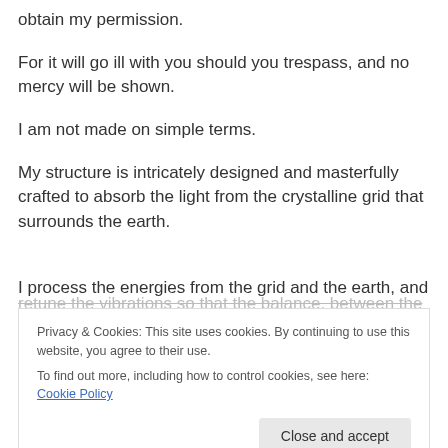obtain my permission.
For it will go ill with you should you trespass, and no mercy will be shown.
I am not made on simple terms.
My structure is intricately designed and masterfully crafted to absorb the light from the crystalline grid that surrounds the earth.
I process the energies from the grid and the earth, and retune the vibrations so that the balance, between the two
Privacy & Cookies: This site uses cookies. By continuing to use this website, you agree to their use. To find out more, including how to control cookies, see here: Cookie Policy
Close and accept